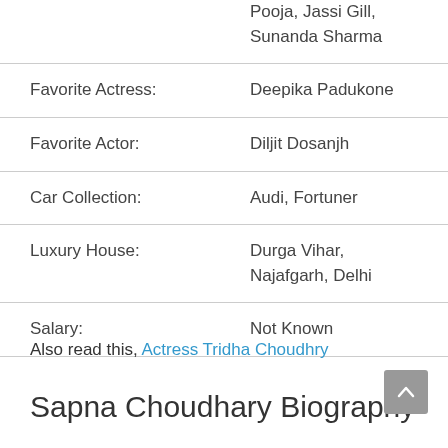| Field | Value |
| --- | --- |
|  | Pooja, Jassi Gill, Sunanda Sharma |
| Favorite Actress: | Deepika Padukone |
| Favorite Actor: | Diljit Dosanjh |
| Car Collection: | Audi, Fortuner |
| Luxury House: | Durga Vihar, Najafgarh, Delhi |
| Salary: | Not Known |
Also read this, Actress Tridha Choudhry
Sapna Choudhary Biography